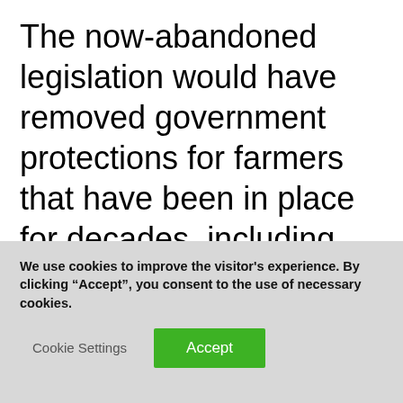The now-abandoned legislation would have removed government protections for farmers that have been in place for decades, including guaranteed minimum prices for crops. These must now be restored and protected.
We use cookies to improve the visitor's experience. By clicking "Accept", you consent to the use of necessary cookies.